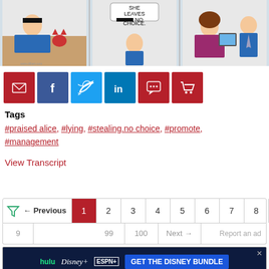[Figure (illustration): Dilbert comic strip panels showing characters including the boss and Alice]
[Figure (infographic): Row of social sharing icon buttons: email (red), Facebook (dark blue), Twitter (light blue), LinkedIn (blue), comment (red), cart (red)]
Tags
#praised alice, #lying, #stealing.no choice, #promote, #management
View Transcript
[Figure (infographic): Pagination bar with filter icon, Previous button, page numbers 1 (active/red), 2, 3, 4, 5, 6, 7, 8 and close button; second row shows 9, 99, 100, Next →, Report an ad]
[Figure (screenshot): Disney Bundle advertisement banner showing Hulu, Disney+, ESPN+ logos with 'GET THE DISNEY BUNDLE' call to action button]